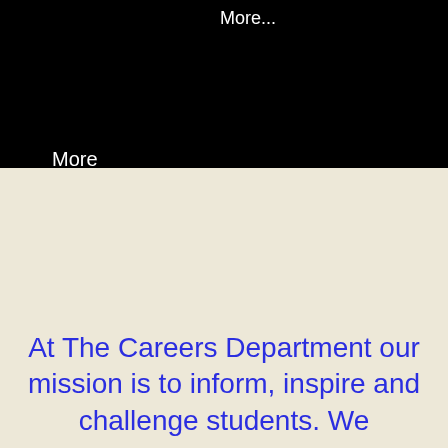More...
More
At The Careers Department our mission is to inform, inspire and challenge students. We